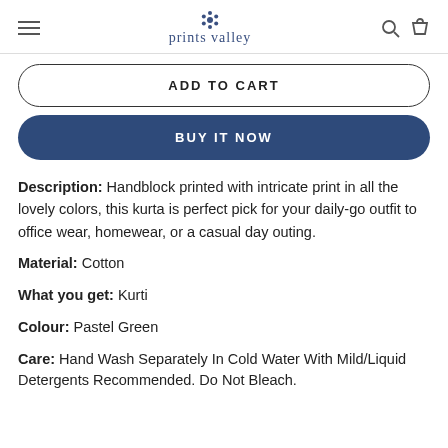prints valley
ADD TO CART
BUY IT NOW
Description: Handblock printed with intricate print in all the lovely colors, this kurta is perfect pick for your daily-go outfit to office wear, homewear, or a casual day outing.
Material: Cotton
What you get: Kurti
Colour: Pastel Green
Care: Hand Wash Separately In Cold Water With Mild/Liquid Detergents Recommended. Do Not Bleach.